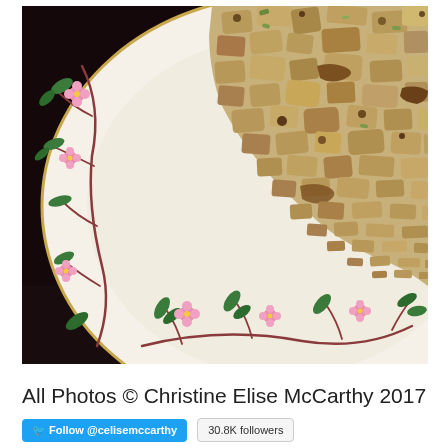[Figure (photo): Top-down photograph of a serving of stuffing/dressing on a decorative white china plate with floral (pink flowers, green leaves, brown branches) and gold rim pattern, set against a dark wooden background.]
All Photos © Christine Elise McCarthy 2017
Follow @celisemccarthy  30.8K followers